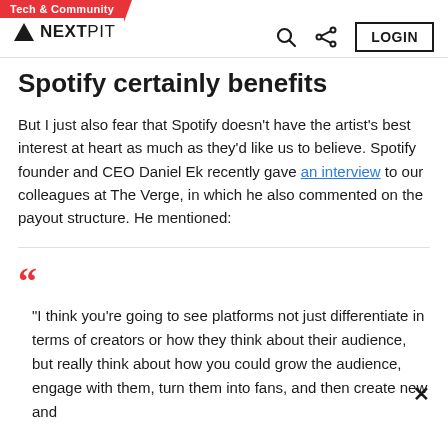Tech & Community | NEXTPIT
Spotify certainly benefits
But I just also fear that Spotify doesn't have the artist's best interest at heart as much as they'd like us to believe. Spotify founder and CEO Daniel Ek recently gave an interview to our colleagues at The Verge, in which he also commented on the payout structure. He mentioned:
"I think you're going to see platforms not just differentiate in terms of creators or how they think about their audience, but really think about how you could grow the audience, engage with them, turn them into fans, and then create new and